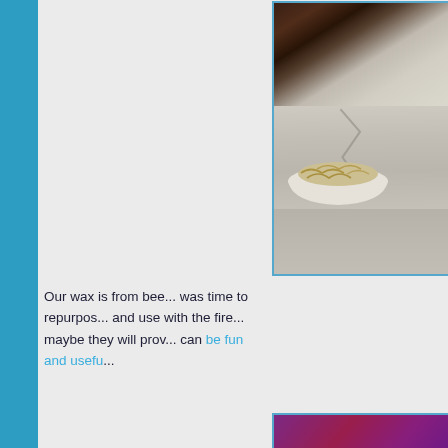[Figure (photo): Photo of wood shavings or chips in a white bowl, placed on a scratched and cracked surface with dark rust-stained material in the upper portion. Partially cropped at right edge.]
Our wax is from bee... was time to repurpos... and use with the fire... maybe they will prov... can be fun and usefu...
[Figure (photo): Partially visible photo with purple/magenta tones, cropped at the bottom of the page.]